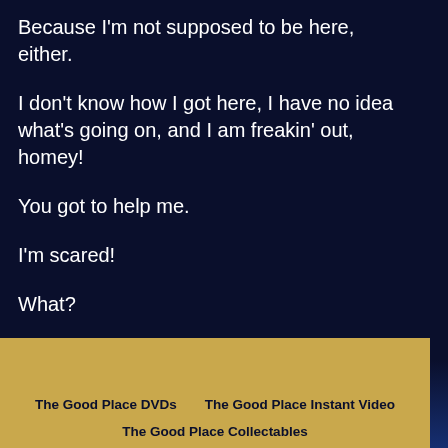Because I'm not supposed to be here, either.
I don't know how I got here, I have no idea what's going on, and I am freakin' out, homey!
You got to help me.
I'm scared!
What?
The Good Place DVDs    The Good Place Instant Video
The Good Place Collectables
[Figure (photo): Bloomingdales advertisement banner with woman wearing wide-brim hat, logo text, tagline 'View Today's Top Deals!' and a 'SHOP NOW >' button]